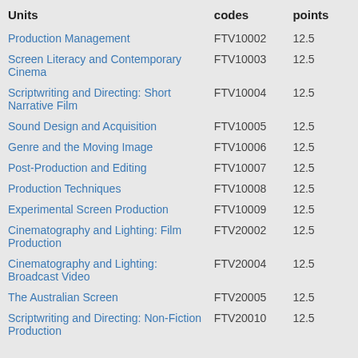| Units | codes | points |
| --- | --- | --- |
| Production Management | FTV10002 | 12.5 |
| Screen Literacy and Contemporary Cinema | FTV10003 | 12.5 |
| Scriptwriting and Directing: Short Narrative Film | FTV10004 | 12.5 |
| Sound Design and Acquisition | FTV10005 | 12.5 |
| Genre and the Moving Image | FTV10006 | 12.5 |
| Post-Production and Editing | FTV10007 | 12.5 |
| Production Techniques | FTV10008 | 12.5 |
| Experimental Screen Production | FTV10009 | 12.5 |
| Cinematography and Lighting: Film Production | FTV20002 | 12.5 |
| Cinematography and Lighting: Broadcast Video | FTV20004 | 12.5 |
| The Australian Screen | FTV20005 | 12.5 |
| Scriptwriting and Directing: Non-Fiction Production | FTV20010 | 12.5 |